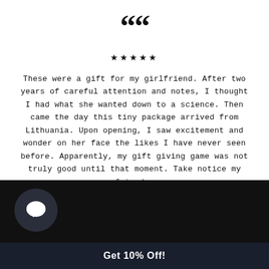““
★★★★★
These were a gift for my girlfriend. After two years of careful attention and notes, I thought I had what she wanted down to a science. Then came the day this tiny package arrived from Lithuania. Upon opening, I saw excitement and wonder on her face the likes I have never seen before. Apparently, my gift giving game was not truly good until that moment. Take notice my friends.
— Nik | Etsy
[Figure (illustration): Dark background section with a circular chat bubble icon on the left and a 'Get 10% Off!' call-to-action bar at the bottom]